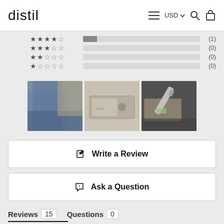distil  ≡  USD ∨  🔍  🛍
[Figure (screenshot): Star rating bars: 4-star (1), 3-star (0), 2-star (0), 1-star (0)]
[Figure (photo): Three thumbnail photos of wallets/products in a horizontal strip]
✍ Write a Review
💬 Ask a Question
Reviews 15    Questions 0
er Reviews:
Sort